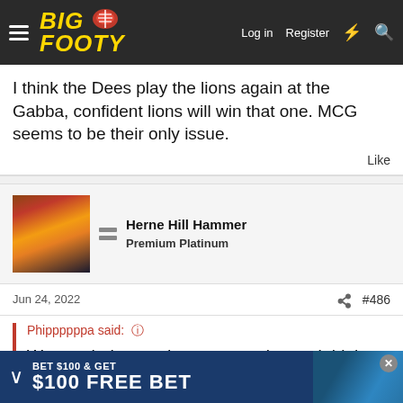BigFooty — Log in | Register
I think the Dees play the lions again at the Gabba, confident lions will win that one. MCG seems to be their only issue.
Like
Herne Hill Hammer
Premium Platinum
Jun 24, 2022
#486
Phippppppa said: ↑
We needed a good percentage boost. I think we actually lost percentage based on the game on the
[Figure (screenshot): Advertisement banner: BET $100 & GET $100 FREE BET]